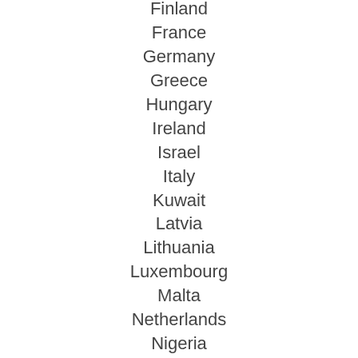Finland
France
Germany
Greece
Hungary
Ireland
Israel
Italy
Kuwait
Latvia
Lithuania
Luxembourg
Malta
Netherlands
Nigeria
Norway
Oman
Poland